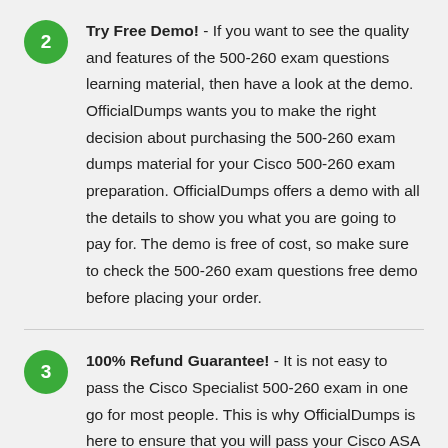Try Free Demo! - If you want to see the quality and features of the 500-260 exam questions learning material, then have a look at the demo. OfficialDumps wants you to make the right decision about purchasing the 500-260 exam dumps material for your Cisco 500-260 exam preparation. OfficialDumps offers a demo with all the details to show you what you are going to pay for. The demo is free of cost, so make sure to check the 500-260 exam questions free demo before placing your order.
100% Refund Guarantee! - It is not easy to pass the Cisco Specialist 500-260 exam in one go for most people. This is why OfficialDumps is here to ensure that you will pass your Cisco ASA Express Security exam on your first attempt. OfficialDumps recommends using the 500-260 exam dumps material for at least two weeks to